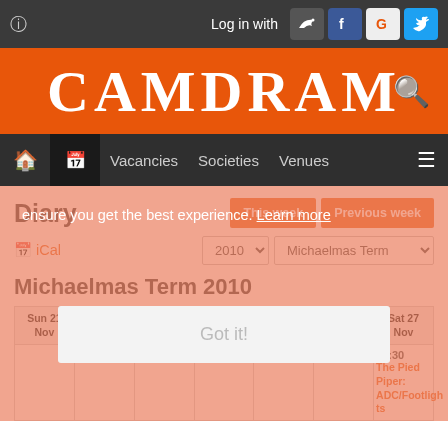Log in with [social icons]
CAMDRAM
Vacancies  Societies  Venues
Diary
This week   Previous week
iCal   2010  Michaelmas Term
Michaelmas Term 2010
| Sun 21 Nov | Mon 22 Nov | Tue 23 Nov | Wed 24 Nov | Thu 25 Nov | Fri 26 Nov | Sat 27 Nov |
| --- | --- | --- | --- | --- | --- | --- |
|  |  |  |  |  |  | 14:30
The Pied Piper: ADC/Footlights |
ensure you get the best experience. Learn more
Got it!